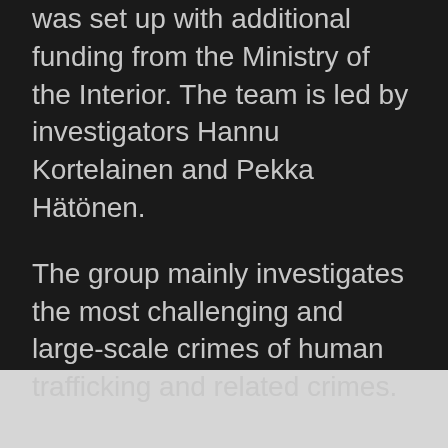was set up with additional funding from the Ministry of the Interior. The team is led by investigators Hannu Kortelainen and Pekka Hätönen.
The group mainly investigates the most challenging and large-scale crimes of human trafficking and related crimes.